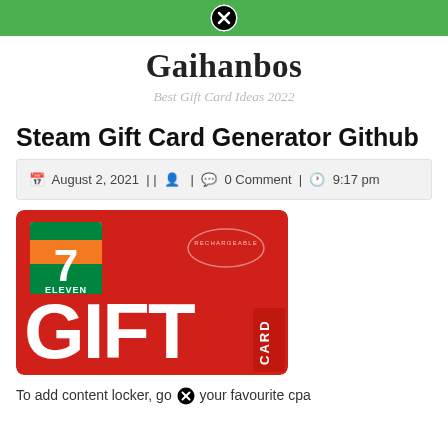Navigation bar with close button
Gaihanbos
Best Gift Card Ideas 2022
Steam Gift Card Generator Github
August 2, 2021 | | | 0 Comment | 9:17 pm
[Figure (photo): 7-Eleven Gift Card - a red gift card showing the 7-Eleven logo and the text GIFT CARD in white letters]
To add content locker, go to your favourite cpa